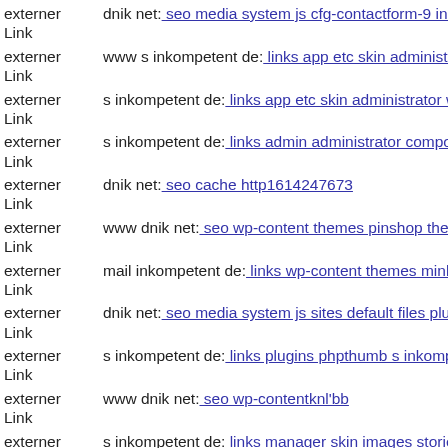externer Link  dnik net: seo media system js cfg-contactform-9 inc upload
externer Link  www s inkompetent de: links app etc skin administrator adm
externer Link  s inkompetent de: links app etc skin administrator wp-conte
externer Link  s inkompetent de: links admin administrator components co
externer Link  dnik net: seo cache http1614247673
externer Link  www dnik net: seo wp-content themes pinshop themify
externer Link  mail inkompetent de: links wp-content themes minblr style
externer Link  dnik net: seo media system js sites default files plugins cont
externer Link  s inkompetent de: links plugins phpthumb s inkompetent de
externer Link  www dnik net: seo wp-contentknl'bb
externer Link  s inkompetent de: links manager skin images stories dhea g
externer Link  (partial, cut off)